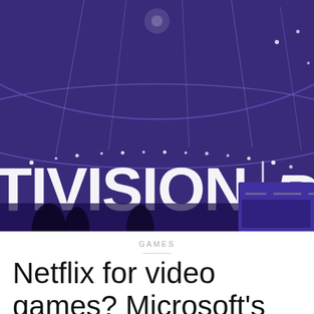[Figure (photo): Photo of an Activision Blizzard stage/event with large illuminated signs showing 'TIVISION' and 'BLIZZA' (Activision Blizzard logo) on a purple-lit background with ceiling lights and silhouetted people in foreground.]
GAMES
Netflix for video games? Microsoft's deal with Activision